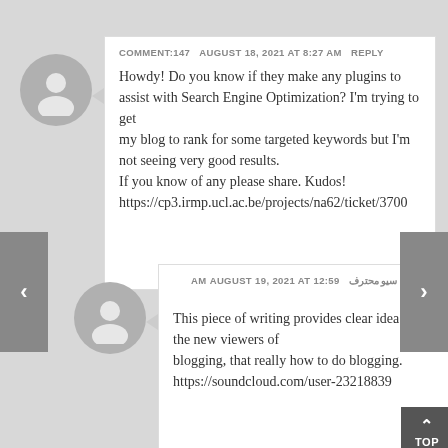COMMENT:147   AUGUST 18, 2021 AT 8:27 AM   REPLY
Howdy! Do you know if they make any plugins to assist with Search Engine Optimization? I'm trying to get my blog to rank for some targeted keywords but I'm not seeing very good results.
If you know of any please share. Kudos!
https://cp3.irmp.ucl.ac.be/projects/na62/ticket/3700
متخصص سيو محترف   AUGUST 19, 2021 AT 12:59 AM   REPLY
This piece of writing provides clear idea for the new viewers of blogging, that really how to do blogging.
https://soundcloud.com/user-23218839